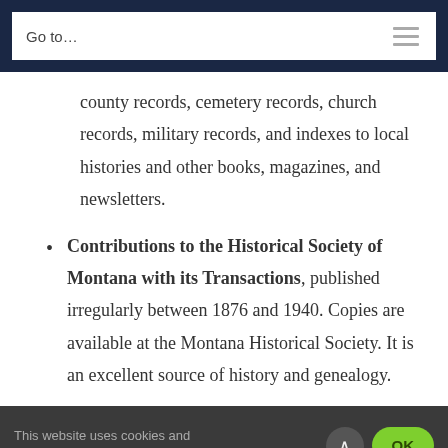Go to…
county records, cemetery records, church records, military records, and indexes to local histories and other books, magazines, and newsletters.
Contributions to the Historical Society of Montana with its Transactions, published irregularly between 1876 and 1940. Copies are available at the Montana Historical Society. It is an excellent source of history and genealogy.
This website uses cookies and third party services.